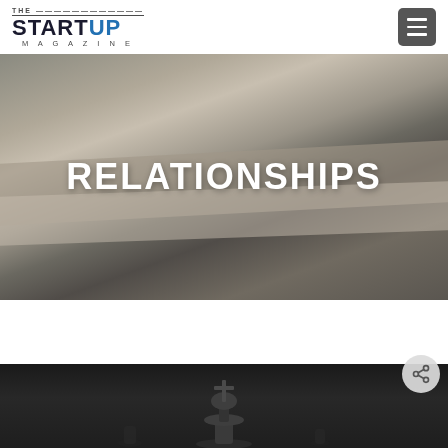THE STARTUP MAGAZINE
[Figure (photo): Close-up of layered notebooks or books in muted gray-beige tones with overlapping edges, serving as hero background image for the Relationships category page]
RELATIONSHIPS
[Figure (photo): Dark black-and-white photo of a chess king piece in the foreground with other pieces blurred in the background]